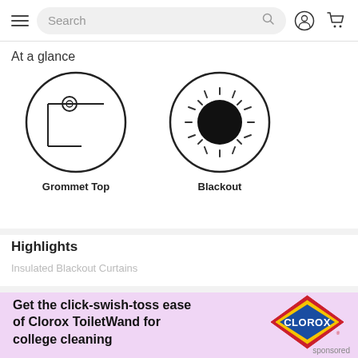[Figure (screenshot): Mobile app navigation bar with hamburger menu, search box, user icon, and cart icon]
At a glance
[Figure (illustration): Grommet Top icon: circle containing a curtain rod with grommet symbol]
Grommet Top
[Figure (illustration): Blackout icon: circle containing a sun/blackout symbol with large dark circle center and radiating dashes]
Blackout
Highlights
Insulated Blackout Curtains
[Figure (illustration): Clorox advertisement banner with pink background. Text: Get the click-swish-toss ease of Clorox ToiletWand for college cleaning. Clorox logo on right side.]
sponsored